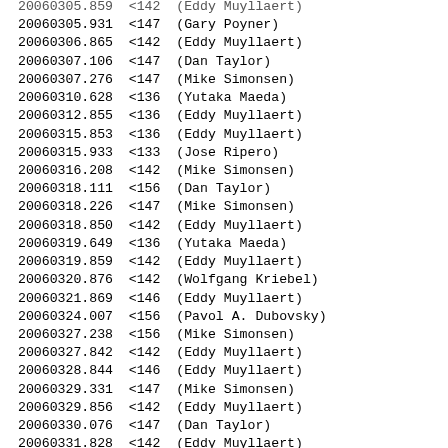20060305.859  <142  (Eddy Muyllaert)
20060305.931  <147  (Gary Poyner)
20060306.865  <142  (Eddy Muyllaert)
20060307.106  <147  (Dan Taylor)
20060307.276  <147  (Mike Simonsen)
20060310.628  <136  (Yutaka Maeda)
20060312.855  <136  (Eddy Muyllaert)
20060315.853  <136  (Eddy Muyllaert)
20060315.933  <133  (Jose Ripero)
20060316.208  <142  (Mike Simonsen)
20060318.111  <156  (Dan Taylor)
20060318.226  <147  (Mike Simonsen)
20060318.850  <142  (Eddy Muyllaert)
20060319.649  <136  (Yutaka Maeda)
20060319.859  <142  (Eddy Muyllaert)
20060320.876  <142  (Wolfgang Kriebel)
20060321.869  <146  (Eddy Muyllaert)
20060324.007  <156  (Pavol A. Dubovsky)
20060327.238  <156  (Mike Simonsen)
20060327.842  <142  (Eddy Muyllaert)
20060328.844  <146  (Eddy Muyllaert)
20060329.331  <147  (Mike Simonsen)
20060329.856  <142  (Eddy Muyllaert)
20060330.076  <147  (Dan Taylor)
20060331.828  <142  (Eddy Muyllaert)
20060331.958  <136  (Adolfo Darriba Martinez)
20060401.850  <146  (Eddy Muyllaert)
20060402.001  <156  (Gary Poyner)
20060402.892  <142  (Eddy Muyllaert)
20060403.315  <147  (Mike Simonsen)